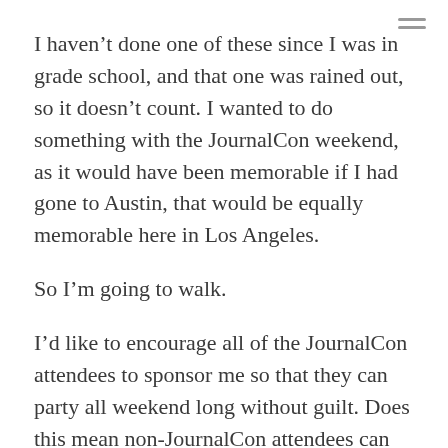I haven't done one of these since I was in grade school, and that one was rained out, so it doesn't count. I wanted to do something with the JournalCon weekend, as it would have been memorable if I had gone to Austin, that would be equally memorable here in Los Angeles.
So I'm going to walk.
I'd like to encourage all of the JournalCon attendees to sponsor me so that they can party all weekend long without guilt. Does this mean non-JournalCon attendees can get away with anything shy of murder that weekend? Yes, it does. Because here's what you get for your super-cool tax-deductible donation: